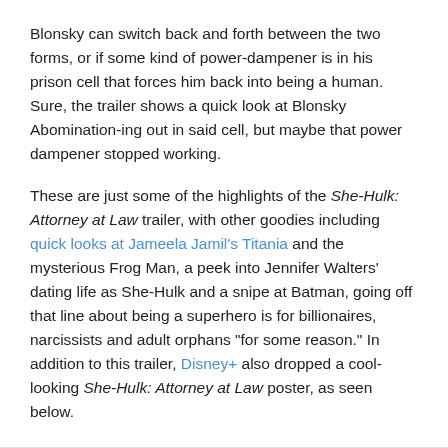Blonsky can switch back and forth between the two forms, or if some kind of power-dampener is in his prison cell that forces him back into being a human. Sure, the trailer shows a quick look at Blonsky Abomination-ing out in said cell, but maybe that power dampener stopped working.
These are just some of the highlights of the She-Hulk: Attorney at Law trailer, with other goodies including quick looks at Jameela Jamil's Titania and the mysterious Frog Man, a peek into Jennifer Walters' dating life as She-Hulk and a snipe at Batman, going off that line about being a superhero is for billionaires, narcissists and adult orphans "for some reason." In addition to this trailer, Disney+ also dropped a cool-looking She-Hulk: Attorney at Law poster, as seen below.